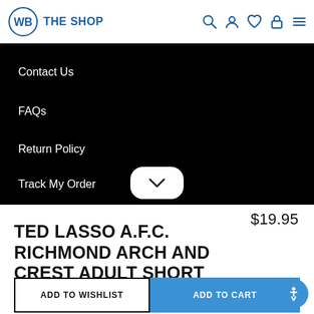WB THE SHOP
Contact Us
FAQs
Return Policy
Track My Order
$19.95
TED LASSO A.F.C. RICHMOND ARCH AND CREST ADULT SHORT SLEEVE T-SHIRT
ADD TO WISHLIST
ADD TO CART